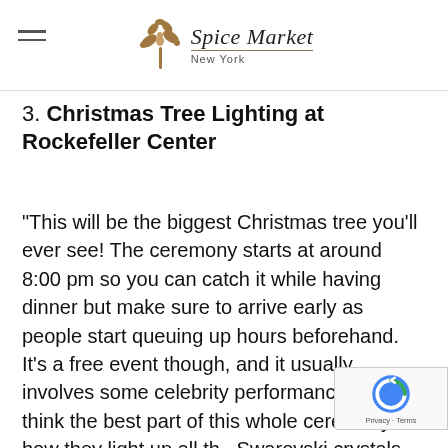Spice Market New York
3. Christmas Tree Lighting at Rockefeller Center
“This will be the biggest Christmas tree you’ll ever see! The ceremony starts at around 8:00 pm so you can catch it while having dinner but make sure to arrive early as people start queuing up hours beforehand. It’s a free event though, and it usually involves some celebrity performances. But I think the best part of this whole ceremony is how they light up all th… Swarovski crystals on top of the tree. At ni…